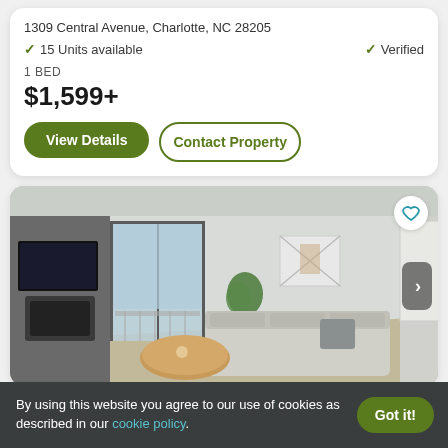1309 Central Avenue, Charlotte, NC 28205
✓ 15 Units available   ✓ Verified
1 BED
$1,599+
View Details
Contact Property
[Figure (photo): Interior photo of a modern apartment living room with gray sofa, round wooden coffee table, sliding glass door to balcony, TV mounted on left wall, and a plant near the window.]
By using this website you agree to our use of cookies as described in our cookie policy.
Got it!